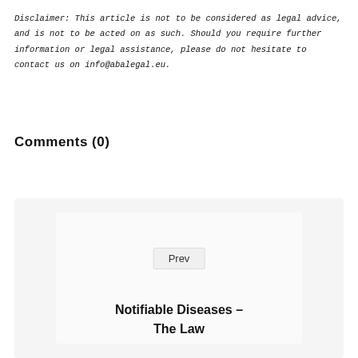Disclaimer: This article is not to be considered as legal advice, and is not to be acted on as such. Should you require further information or legal assistance, please do not hesitate to contact us on info@abalegal.eu.
Comments (0)
Prev
Notifiable Diseases – The Law